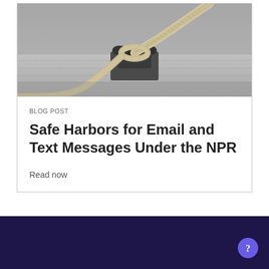[Figure (photo): Black and white photograph of a nautical rope tied to a boat cleat on a dock]
BLOG POST
Safe Harbors for Email and Text Messages Under the NPR
Read now